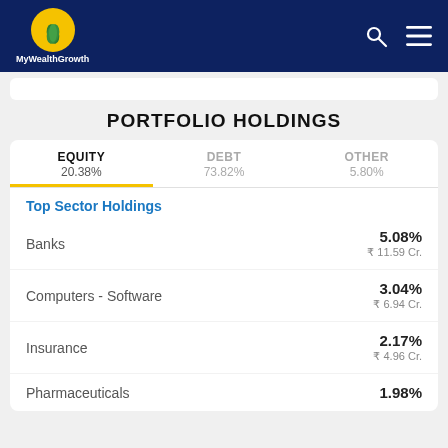MyWealthGrowth
PORTFOLIO HOLDINGS
| Category | Percentage |
| --- | --- |
| EQUITY | 20.38% |
| DEBT | 73.82% |
| OTHER | 5.80% |
Top Sector Holdings
| Sector | Percentage | Amount |
| --- | --- | --- |
| Banks | 5.08% | ₹ 11.59 Cr. |
| Computers - Software | 3.04% | ₹ 6.94 Cr. |
| Insurance | 2.17% | ₹ 4.96 Cr. |
| Pharmaceuticals | 1.98% |  |